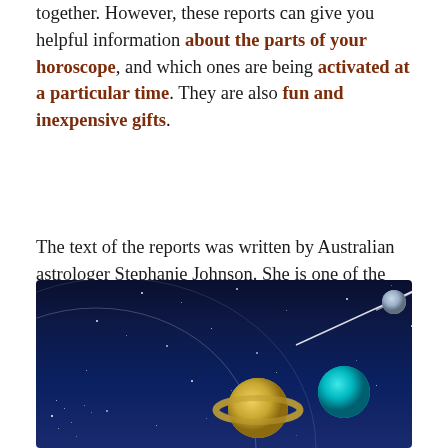together. However, these reports can give you helpful information about the parts of your horoscope, and which ones are being activated at a particular time. They are also fun and inexpensive gifts.
The text of the reports was written by Australian astrologer Stephanie Johnson. She is one of the creators of Solar Fire, the software I use to calculate horoscopes.
[Figure (illustration): Space scene with dark blue starfield background showing stars, a comet with tail, orbital arcs, Saturn-like ringed planet in gold/yellow, a bright teal/cyan planet, and a smaller blue-grey sphere against a black and deep blue background.]